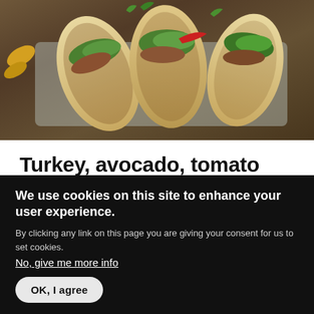[Figure (photo): Overhead photo of several tacos in a metal tray on a wooden surface, filled with meat, avocado, cilantro and vegetables]
Turkey, avocado, tomato salsa and chipotle Tacos
This is an amazing way to use up leftover turkey meat. The chipotle adds a smokiness and the salsa i...
READ MORE
We use cookies on this site to enhance your user experience.
By clicking any link on this page you are giving your consent for us to set cookies.
No, give me more info
OK, I agree